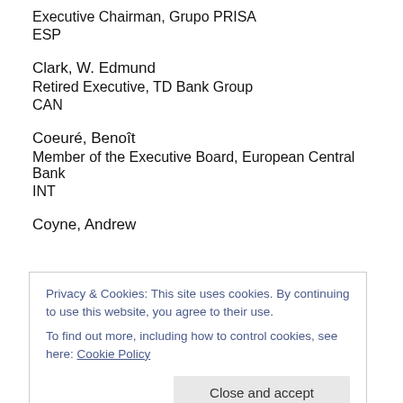Executive Chairman, Grupo PRISA
ESP
Clark, W. Edmund
Retired Executive, TD Bank Group
CAN
Coeuré, Benoît
Member of the Executive Board, European Central Bank
INT
Coyne, Andrew
Privacy & Cookies: This site uses cookies. By continuing to use this website, you agree to their use.
To find out more, including how to control cookies, see here: Cookie Policy
Close and accept
SWE